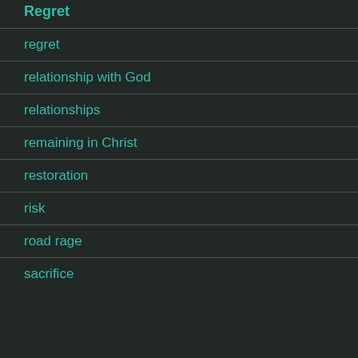Regret
regret
relationship with God
relationships
remaining in Christ
restoration
risk
road rage
sacrifice